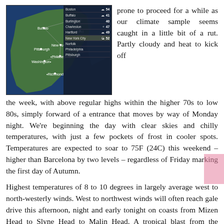[Figure (map): Weather map showing northeastern US cities including Buffalo, Burlington, Portland, Boston, New York, Philadelphia, Pittsburgh, Washington, Richmond, with a weather data list on the right side showing cities and temperatures.]
prone to proceed for a while as our climate sample seems caught in a little bit of a rut. Partly cloudy and heat to kick off the week, with above regular highs within the higher 70s to low 80s, simply forward of a entrance that moves by way of Monday night. We're beginning the day with clear skies and chilly temperatures, with just a few pockets of frost in cooler spots. Temperatures are expected to soar to 75F (24C) this weekend – higher than Barcelona by two levels – regardless of Friday marking the first day of Autumn.
Highest temperatures of 8 to 10 degrees in largely average west to north-westerly winds. West to northwest winds will often reach gale drive this afternoon, night and early tonight on coasts from Mizen Head to Slyne Head to Malin Head. A tropical blast from the Atlantic on Sunday could even make it feel like seventy eight 8F (26C) in